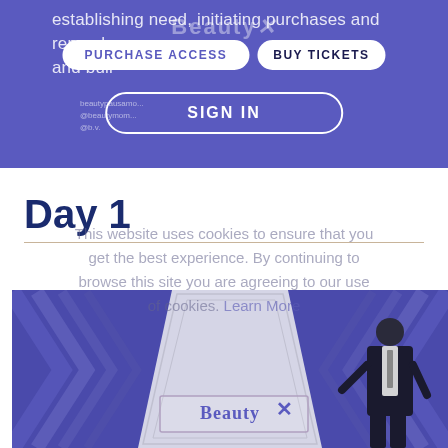establishing need, initiating purchases and repurchases, and building...
PURCHASE ACCESS    BUY TICKETS
SIGN IN
Day 1
This website uses cookies to ensure that you get the best experience. By continuing to browse this site you are agreeing to our use of cookies. Learn More
[Figure (photo): Conference stage with BeautyX branding, speaker in suit standing to the right of a large triangular backdrop structure with geometric chevron patterns in blue/purple tones]